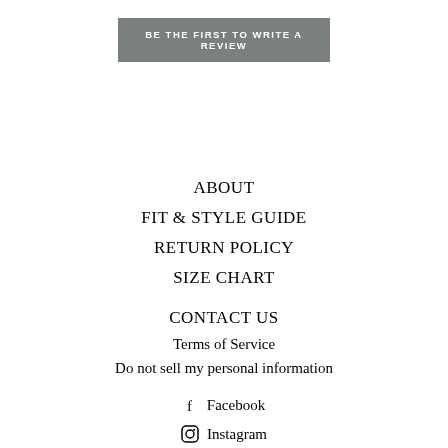BE THE FIRST TO WRITE A REVIEW
ABOUT
FIT & STYLE GUIDE
RETURN POLICY
SIZE CHART
CONTACT US
Terms of Service
Do not sell my personal information
Facebook
Instagram